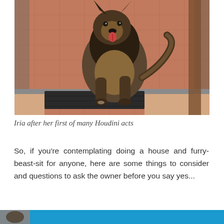[Figure (photo): A German Shepherd dog sitting on a terracotta tiled floor outside a glass door, tongue out, looking at the camera. A dark doormat is visible just inside the doorway.]
Iria after her first of many Houdini acts
So, if you're contemplating doing a house and furry-beast-sit for anyone, here are some things to consider and questions to ask the owner before you say yes...